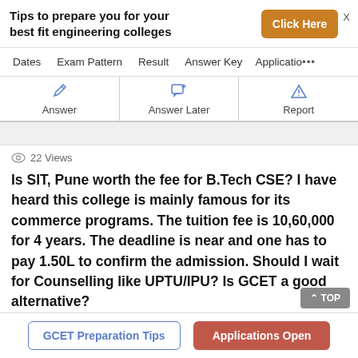Tips to prepare you for your best fit engineering colleges
Click Here
Dates   Exam Pattern   Result   Answer Key   Application...
Answer
Answer Later
Report
22 Views
Is SIT, Pune worth the fee for B.Tech CSE? I have heard this college is mainly famous for its commerce programs. The tuition fee is 10,60,000 for 4 years. The deadline is near and one has to pay 1.50L to confirm the admission. Should I wait for Counselling like UPTU/IPU? Is GCET a good alternative?
GCET Preparation Tips
Applications Open